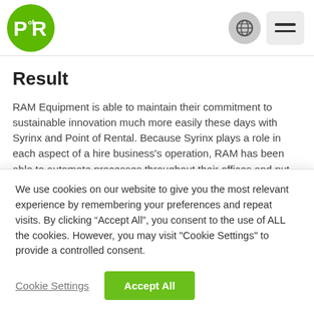[Figure (logo): Point of Rental (PR) green circle logo with white text]
Result
RAM Equipment is able to maintain their commitment to sustainable innovation much more easily these days with Syrinx and Point of Rental. Because Syrinx plays a role in each aspect of a hire business’s operation, RAM has been able to automate processes throughout their offices and put them all
We use cookies on our website to give you the most relevant experience by remembering your preferences and repeat visits. By clicking “Accept All”, you consent to the use of ALL the cookies. However, you may visit “Cookie Settings” to provide a controlled consent.
Cookie Settings   Accept All